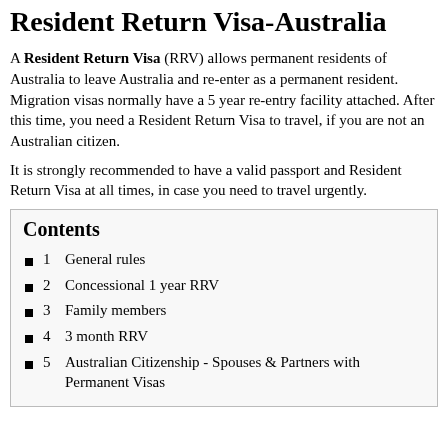Resident Return Visa-Australia
A Resident Return Visa (RRV) allows permanent residents of Australia to leave Australia and re-enter as a permanent resident. Migration visas normally have a 5 year re-entry facility attached. After this time, you need a Resident Return Visa to travel, if you are not an Australian citizen.
It is strongly recommended to have a valid passport and Resident Return Visa at all times, in case you need to travel urgently.
Contents
1  General rules
2  Concessional 1 year RRV
3  Family members
4  3 month RRV
5  Australian Citizenship - Spouses & Partners with Permanent Visas